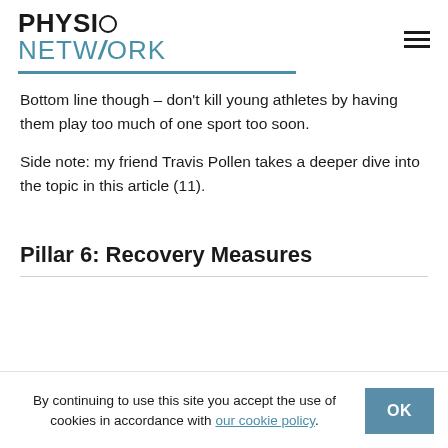PHYSIO NETWORK
Bottom line though – don't kill young athletes by having them play too much of one sport too soon.
Side note: my friend Travis Pollen takes a deeper dive into the topic in this article (11).
Pillar 6: Recovery Measures
By continuing to use this site you accept the use of cookies in accordance with our cookie policy.